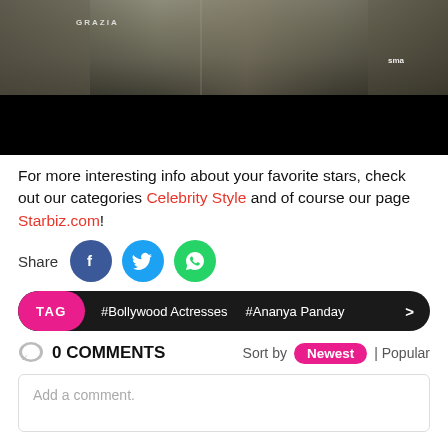[Figure (photo): Photo of women wearing dark ruffled/tiered dresses at what appears to be a Grazia event. The lower portion of the image is a black bar/overlay.]
For more interesting info about your favorite stars, check out our categories Celebrity Style and of course our page Starbiz.com!
Share
TAG #Bollywood Actresses #Ananya Panday >
0 COMMENTS  Sort by Newest | Popular
Add a comment.